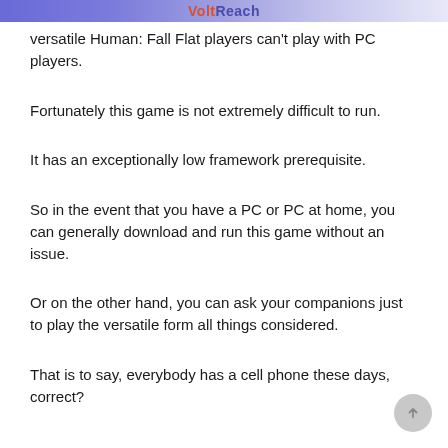VoltReach
versatile Human: Fall Flat players can't play with PC players.
Fortunately this game is not extremely difficult to run.
It has an exceptionally low framework prerequisite.
So in the event that you have a PC or PC at home, you can generally download and run this game without an issue.
Or on the other hand, you can ask your companions just to play the versatile form all things considered.
That is to say, everybody has a cell phone these days, correct?